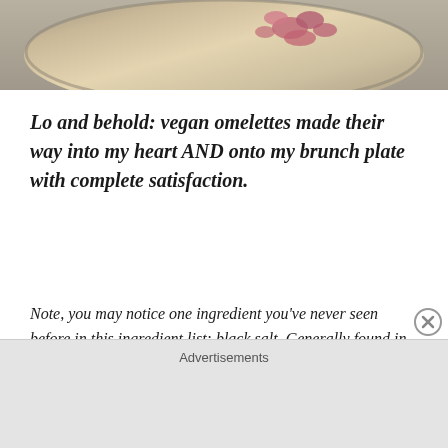[Figure (photo): Cropped top portion of a food photo showing what appears to be a cutting board with chopped red onions on a light wooden surface.]
Lo and behold: vegan omelettes made their way into my heart AND onto my brunch plate with complete satisfaction.
Note, you may notice one ingredient you've never seen before in this ingredient list: black salt. Generally found in the Himalayas, black salt contains a distinct eggy flavor that elevates the flavor profile of many egg-like dishes, such as this one. If you don't care to purchase any, don't fret, the
Advertisements